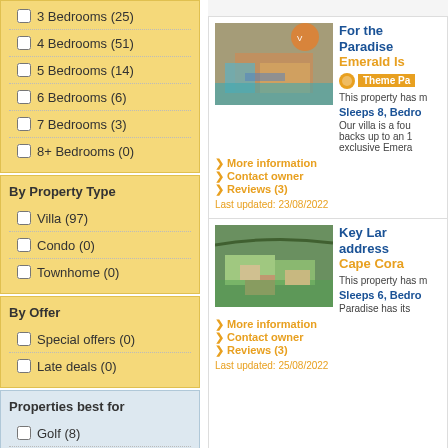3 Bedrooms (25)
4 Bedrooms (51)
5 Bedrooms (14)
6 Bedrooms (6)
7 Bedrooms (3)
8+ Bedrooms (0)
By Property Type
Villa (97)
Condo (0)
Townhome (0)
By Offer
Special offers (0)
Late deals (0)
Properties best for
Golf (8)
Theme Park (24)
Beach (1)
Disabled Accessible (2)
By Facilities
Leisure
BBQ (51)
Games Room (69)
For the Paradise Emerald Is
Theme Pa
This property has m
Sleeps 8, Bedro
Our villa is a fou backs up to an 1 exclusive Emera
More information
Contact owner
Reviews (3)
Last updated: 23/08/2022
Key Lar address Cape Cora
This property has m
Sleeps 6, Bedro
Paradise has its
More information
Contact owner
Reviews (3)
Last updated: 25/08/2022